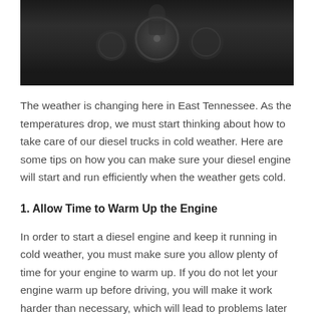[Figure (photo): Dark photograph of what appears to be diesel truck engine components or gauges, shown in dark tones]
The weather is changing here in East Tennessee. As the temperatures drop, we must start thinking about how to take care of our diesel trucks in cold weather. Here are some tips on how you can make sure your diesel engine will start and run efficiently when the weather gets cold.
1. Allow Time to Warm Up the Engine
In order to start a diesel engine and keep it running in cold weather, you must make sure you allow plenty of time for your engine to warm up. If you do not let your engine warm up before driving, you will make it work harder than necessary, which will lead to problems later on. The length of time your diesel engine will need to warm up depends on...